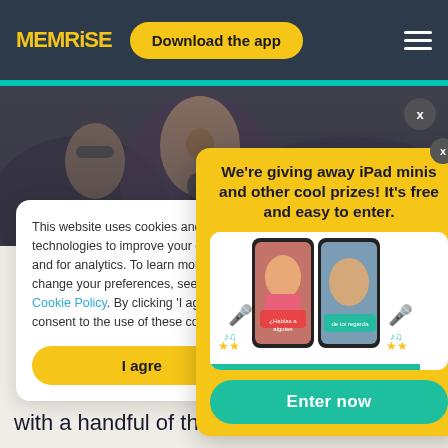MEM RiSE — Download the app
[Figure (photo): Hero image of crowd at an event, people with colorful makeup]
This website uses cookies and other technologies to improve your experience and for analytics. To learn more or change your preferences, see our Cookie Policy. By clicking 'I agree', you consent to the use of these cookies.
We're giving away iPad minis and other cool prizes! It's free and easy to enter.
[Figure (screenshot): Two phone screenshots showing the Memrise app with video lessons, with decorative microphone and star icons around them]
Enter now
I agre
with a handful of these, and try and start